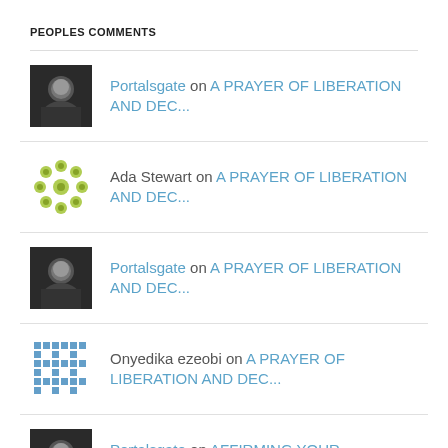PEOPLES COMMENTS
Portalsgate on A PRAYER OF LIBERATION AND DEC...
Ada Stewart on A PRAYER OF LIBERATION AND DEC...
Portalsgate on A PRAYER OF LIBERATION AND DEC...
Onyedika ezeobi on A PRAYER OF LIBERATION AND DEC...
Portalsgate on AFFIRMING YOUR CHILDREN WITH Q...